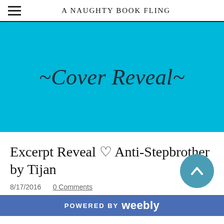A NAUGHTY BOOK FLING
[Figure (illustration): Cyan/teal banner with italic text '~Cover Reveal~' in dark color on bright blue background]
Excerpt Reveal ♡ Anti-Stepbrother by Tijan
8/17/2016    0 Comments
POWERED BY weebly